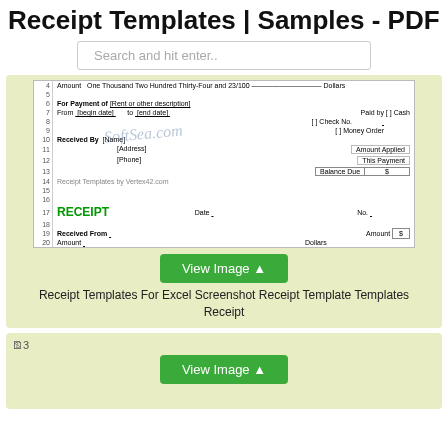Receipt Templates | Samples - PDF
Search and hit enter..
[Figure (screenshot): Screenshot of two receipt templates for Excel, showing rows with fields for Amount, For Payment of, From/To dates, Paid by checkboxes (Cash, Check No., Money Order), Received By with Name/Address/Phone, Amount Applied, This Payment, Balance Due, and a second receipt with RECEIPT header, Date, No., Received From, Amount in dollar box, and Amount in Dollars line. SoftSea.com watermark visible.]
Receipt Templates For Excel Screenshot Receipt Template Templates Receipt
[Figure (screenshot): Partially visible third receipt template image (broken image icon shown as '3').]